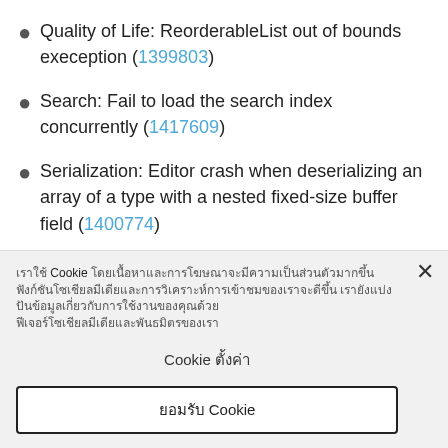Quality of Life: ReorderableList out of bounds exeception (1399803)
Search: Fail to load the search index concurrently (1417609)
Serialization: Editor crash when deserializing an array of a type with a nested fixed-size buffer field (1400774)
Settings Window: Spaces and symbols of the
เราใช้ Cookie โดยเนื้อหาและการโฆษณาจะมีความเป็นส่วนตัวมากขึ้น ฟังก์ชันโซเชียลมีเดียและการวิเคราะห์การเข้าชมของเราจะดีขึ้น เรายังแบ่งปันข้อมูลเกี่ยวกับการใช้งานของคุณด้วย Cookie ตั้งค่า ยอมรับ Cookie ทั้งหมด
Cookie ตั้งค่า
ยอมรับ Cookie